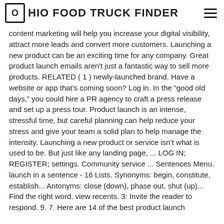OHIO FOOD TRUCK FINDER
content marketing will help you increase your digital visibility, attract more leads and convert more customers. Launching a new product can be an exciting time for any company. Great product launch emails aren't just a fantastic way to sell more products. RELATED ( 1 ) newly-launched brand. Have a website or app that's coming soon? Log in. In the “good old days,” you could hire a PR agency to craft a press release and set up a press tour. Product launch is an intense, stressful time, but careful planning can help reduce your stress and give your team a solid plan to help manage the intensity. Launching a new product or service isn’t what is used to be. But just like any landing page, ... LOG IN; REGISTER; settings. Community service ... Sentences Menu. launch in a sentence - 16 Lists. Synonyms: begin, constitute, establish... Antonyms: close (down), phase out, shut (up)... Find the right word. view recents. 3: Invite the reader to respond. 9. 7. Here are 14 of the best product launch